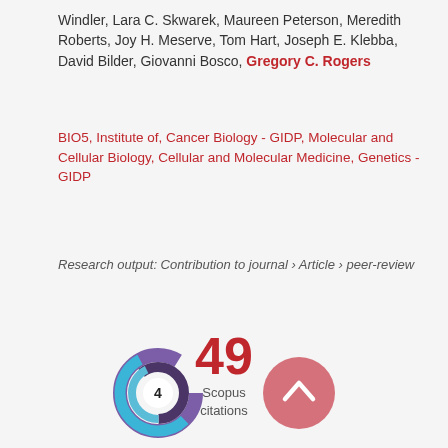Windler, Lara C. Skwarek, Maureen Peterson, Meredith Roberts, Joy H. Meserve, Tom Hart, Joseph E. Klebba, David Bilder, Giovanni Bosco, Gregory C. Rogers
BIO5, Institute of, Cancer Biology - GIDP, Molecular and Cellular Biology, Cellular and Molecular Medicine, Genetics - GIDP
Research output: Contribution to journal › Article › peer-review
49 Scopus citations
[Figure (infographic): Circular spiral/donut badge with number 4 in center, rendered in blue and purple gradient colors]
[Figure (other): Pink/rose colored circular scroll-to-top button with upward chevron arrow]